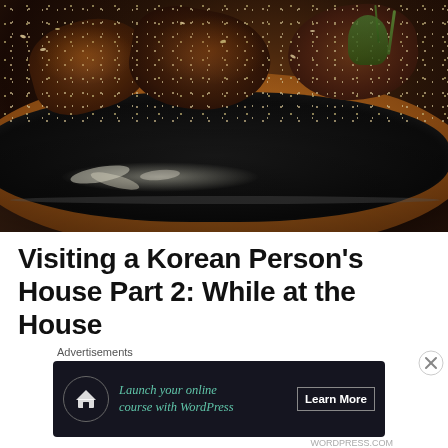[Figure (photo): Close-up photograph of Korean grilled meat (galbi/short ribs) on a black cast iron sizzling plate set on a round wooden platter. The meat is charred and garnished with sesame seeds, green onions, and white onion slices.]
Visiting a Korean Person’s House Part 2: While at the House
Advertisements
[Figure (other): Advertisement banner: dark navy background with a circular icon showing a house/upload symbol, text reading 'Launch your online course with WordPress' in teal italic font, and a 'Learn More' button in white on the right. A close (X) button appears to the right of the banner.]